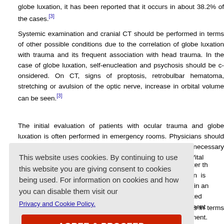globe luxation, it has been reported that it occurs in about 38.2% of the cases.[3]
Systemic examination and cranial CT should be performed in terms of other possible conditions due to the correlation of globe luxation with trauma and its frequent association with head trauma. In the case of globe luxation, self-enucleation and psychosis should be considered. On CT, signs of proptosis, retrobulbar hematoma, stretching or avulsion of the optic nerve, increase in orbital volume can be seen.[3]
The initial evaluation of patients with ocular trauma and globe luxation is often performed in emergency rooms. Physicians should first determine how serious the injury is and obtain the necessary consultations without causing further damage to the eye. Vital ... After th... condition is... have pain a... be exerted... al treatment... al treatment... sedation, the... ved thumb.[2]... l to relax the... ositioned firs... ed in 5.9%.
reported that repositioning the globe leads to better results in terms of aesthete
[Figure (screenshot): Cookie consent overlay with text 'This website uses cookies. By continuing to use this website you are giving consent to cookies being used. For information on cookies and how you can disable them visit our' with a Privacy and Cookie Policy link and an AGREE & PROCEED button.]